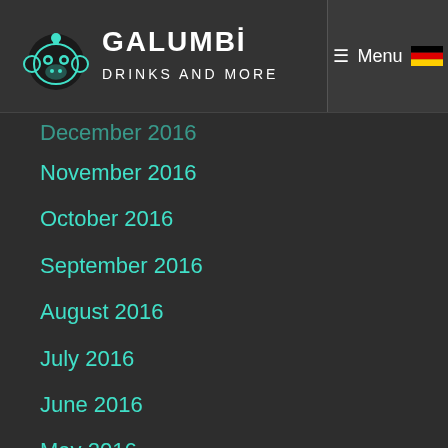GALUMBI DRINKS AND MORE — Menu
December 2016 (partially visible)
November 2016
October 2016
September 2016
August 2016
July 2016
June 2016
May 2016
April 2016
March 2016
February 2016
January 2016
December 2015
November 2015
October 2015
September 2015